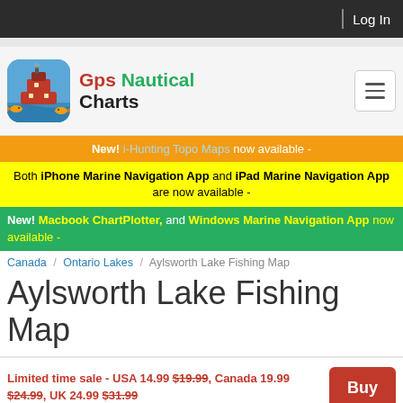Log In
[Figure (logo): GPS Nautical Charts app logo with ship and fish on blue/water background]
Gps Nautical Charts
New! i-Hunting Topo Maps now available -
Both iPhone Marine Navigation App and iPad Marine Navigation App are now available -
New! Macbook ChartPlotter, and Windows Marine Navigation App now available -
Canada / Ontario Lakes / Aylsworth Lake Fishing Map
Aylsworth Lake Fishing Map
Limited time sale - USA 14.99 $19.99, Canada 19.99 $24.99, UK 24.99 $31.99